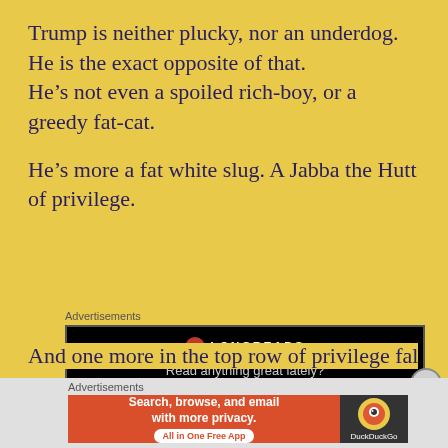Trump is neither plucky, nor an underdog. He is the exact opposite of that. He’s not even a spoiled rich-boy, or a greedy fat-cat.
He’s more a fat white slug. A Jabba the Hutt of privilege.
Advertisements
[Figure (screenshot): Longreads advertisement banner with black background showing logo and text 'Read anything great lately?']
And one more in the top row of privilege falls
Advertisements
[Figure (screenshot): DuckDuckGo advertisement banner: 'Search, browse, and email with more privacy. All in One Free App' with DuckDuckGo logo on right]